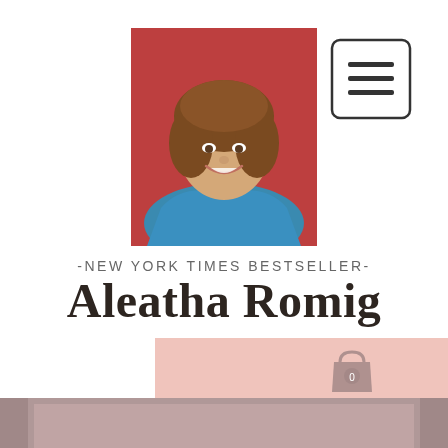[Figure (photo): Portrait photo of Aleatha Romig, a woman with brown curly hair, smiling, wearing a teal/blue jacket, posed in front of a red door background]
[Figure (other): Menu hamburger icon button — three horizontal lines inside a rounded rectangle border]
-NEW YORK TIMES BESTSELLER-
Aleatha Romig
[Figure (other): Light pink banner bar with a shopping bag cart icon showing '0' badge]
[Figure (other): Dusty rose / mauve colored lower content panel area]